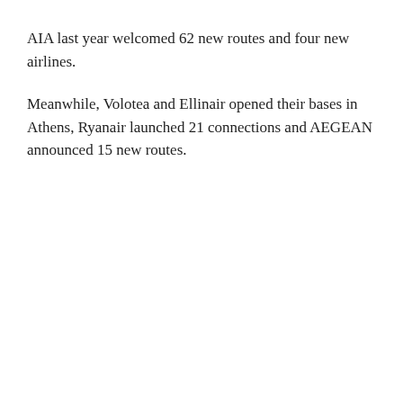AIA last year welcomed 62 new routes and four new airlines.
Meanwhile, Volotea and Ellinair opened their bases in Athens, Ryanair launched 21 connections and AEGEAN announced 15 new routes.